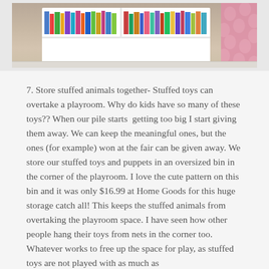[Figure (photo): A white children's bookshelf/bookcase filled with colorful books, placed in the corner of a room with beige walls and a pink patterned storage bin or drum visible on the right side.]
7. Store stuffed animals together- Stuffed toys can overtake a playroom. Why do kids have so many of these toys?? When our pile starts getting too big I start giving them away. We can keep the meaningful ones, but the ones (for example) won at the fair can be given away. We store our stuffed toys and puppets in an oversized bin in the corner of the playroom. I love the cute pattern on this bin and it was only $16.99 at Home Goods for this huge storage catch all! This keeps the stuffed animals from overtaking the playroom space. I have seen how other people hang their toys from nets in the corner too. Whatever works to free up the space for play, as stuffed toys are not played with as much as